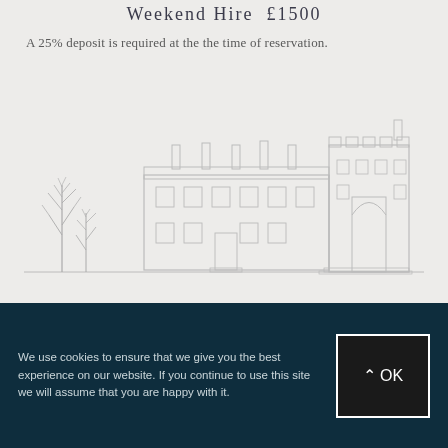Weekend Hire  £1500
A 25% deposit is required at the the time of reservation.
[Figure (illustration): Line drawing illustration of a Georgian manor house with trees on the left, showing the building facade with windows, chimneys, and a gatehouse tower on the right.]
Further Information
We use cookies to ensure that we give you the best experience on our website. If you continue to use this site we will assume that you are happy with it.